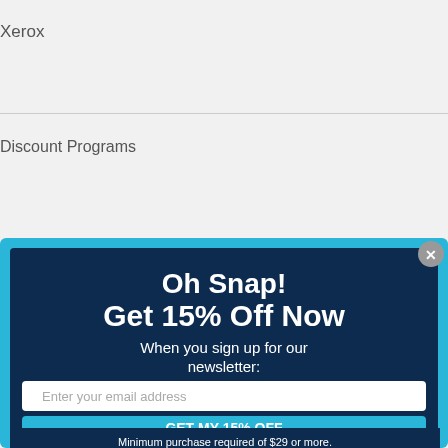Xerox
Discount Programs
[Figure (screenshot): Popup modal with cyan outer border and dark navy background. Contains heading 'Oh Snap! Get 15% Off Now', subtext 'When you sign up for our newsletter:', email input field with placeholder 'Enter your email address', a cyan button labeled 'GET MY 15% OFF', and fine print 'Minimum purchase required of $29 or more.' A close button (X) appears in the top-right corner.]